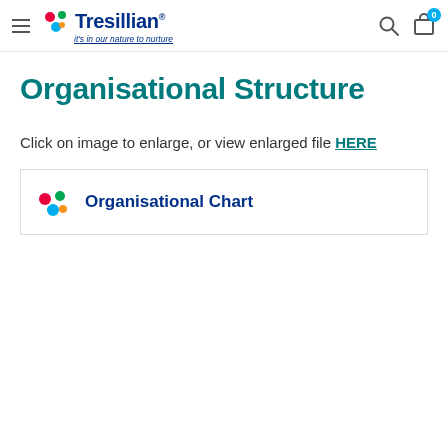Tresillian — it's in our nature to nurture
Organisational Structure
Click on image to enlarge, or view enlarged file HERE
[Figure (organizational-chart): Thumbnail preview of Tresillian Organisational Chart with logo dots and title text]